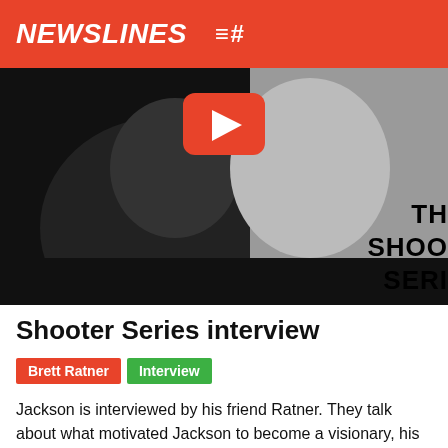NEWSLINES
[Figure (screenshot): Video thumbnail showing a dark silhouetted figure with text overlay reading 'THE SHOOTER SERIES' on the right side and a YouTube play button in the upper center area.]
Shooter Series interview
Brett Ratner  Interview
Jackson is interviewed by his friend Ratner. They talk about what motivated Jackson to become a visionary, his first break into the